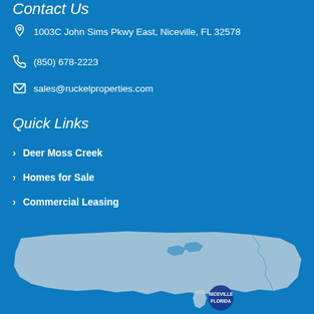Contact Us
1003C John Sims Pkwy East, Niceville, FL 32578
(850) 678-2223
sales@ruckelproperties.com
Quick Links
Deer Moss Creek
Homes for Sale
Commercial Leasing
[Figure (map): Map of the United States with a blue circle marker indicating Niceville, Florida location]